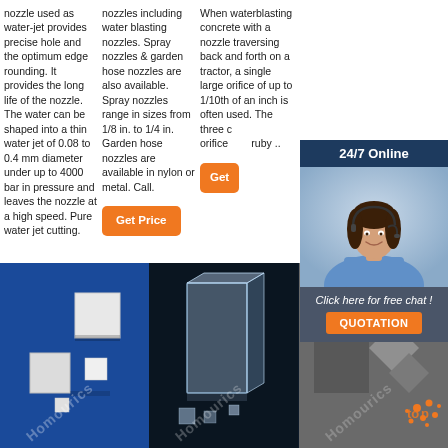nozzle used as water-jet provides precise hole and the optimum edge rounding. It provides the long life of the nozzle. The water can be shaped into a thin water jet of 0.08 to 0.4 mm diameter under up to 4000 bar in pressure and leaves the nozzle at a high speed. Pure water jet cutting.
Get Price
nozzles including water blasting nozzles. Spray nozzles & garden hose nozzles are also available. Spray nozzles range in sizes from 1/8 in. to 1/4 in. Garden hose nozzles are available in nylon or metal. Call.
Get Price
When waterblasting concrete with a nozzle traversing back and forth on a tractor, a single large orifice of up to 1/10th of an inch is often used. The three c orifice ruby ..
Get
24/7 Online
[Figure (photo): Customer service agent woman with headset smiling]
Click here for free chat !
QUOTATION
[Figure (photo): White crystal/ceramic pieces on blue background with Homour watermark]
[Figure (photo): Clear glass rectangular block with crystal pieces on dark background with Homour watermark]
[Figure (photo): Gray background with orange Top logo dots and Homour watermark]